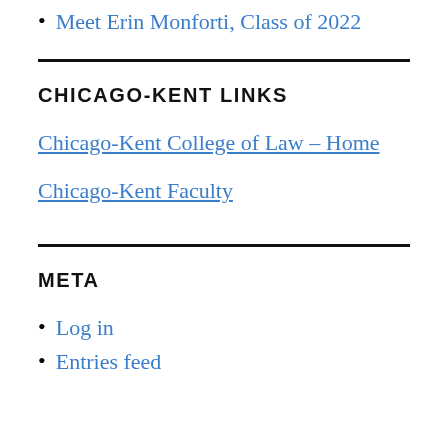Meet Erin Monforti, Class of 2022
CHICAGO-KENT LINKS
Chicago-Kent College of Law - Home
Chicago-Kent Faculty
META
Log in
Entries feed